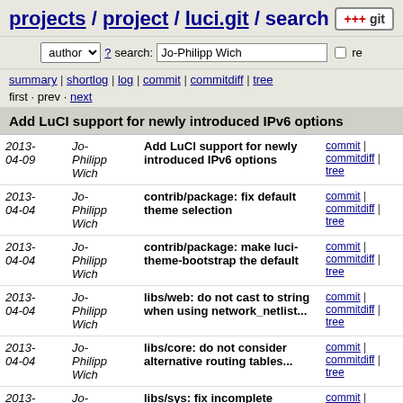projects / project / luci.git / search
author ? search: Jo-Philipp Wich re
summary | shortlog | log | commit | commitdiff | tree
first · prev · next
Add LuCI support for newly introduced IPv6 options
| Date | Author | Message | Links |
| --- | --- | --- | --- |
| 2013-04-09 | Jo-Philipp Wich | Add LuCI support for newly introduced IPv6 options | commit | commitdiff | tree |
| 2013-04-04 | Jo-Philipp Wich | contrib/package: fix default theme selection | commit | commitdiff | tree |
| 2013-04-04 | Jo-Philipp Wich | contrib/package: make luci-theme-bootstrap the default | commit | commitdiff | tree |
| 2013-04-04 | Jo-Philipp Wich | libs/web: do not cast to string when using network_netlist... | commit | commitdiff | tree |
| 2013-04-04 | Jo-Philipp Wich | libs/core: do not consider alternative routing tables... | commit | commitdiff | tree |
| 2013-03-27 | Jo-Philipp Wich | libs/sys: fix incomplete options table when parsing... | commit | commitdiff | tree |